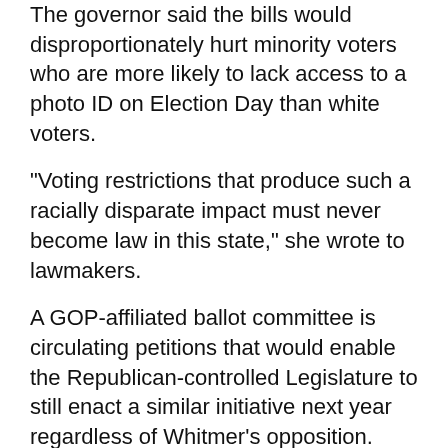The governor said the bills would disproportionately hurt minority voters who are more likely to lack access to a photo ID on Election Day than white voters.
"Voting restrictions that produce such a racially disparate impact must never become law in this state," she wrote to lawmakers.
A GOP-affiliated ballot committee is circulating petitions that would enable the Republican-controlled Legislature to still enact a similar initiative next year regardless of Whitmer’s opposition.
The legislation also would have prohibited the secretary of state and clerks from mailing absentee ballot applications unless voters request them and banned private donations to help administer elections.
In Michigan, voters who go to a polling place without a